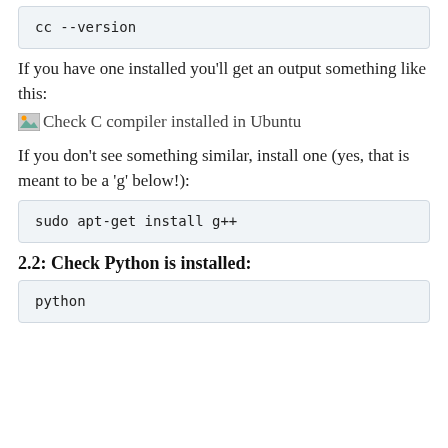cc --version
If you have one installed you'll get an output something like this:
[Figure (screenshot): Check C compiler installed in Ubuntu]
If you don't see something similar, install one (yes, that is meant to be a 'g' below!):
sudo apt-get install g++
2.2: Check Python is installed:
python